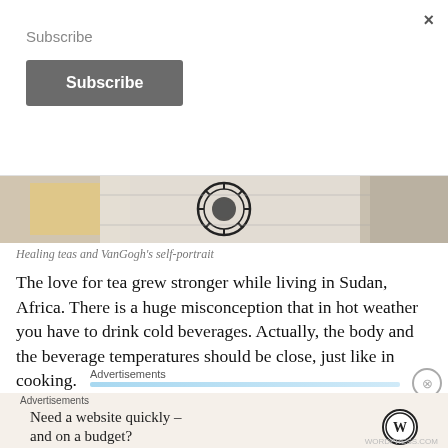Subscribe
Subscribe
[Figure (photo): Partial view of a printed fabric or paper with decorative black circular emblem/mandala design, with some items visible on the sides]
Healing teas and VanGogh's self-portrait
The love for tea grew stronger while living in Sudan, Africa. There is a huge misconception that in hot weather you have to drink cold beverages. Actually, the body and the beverage temperatures should be close, just like in cooking.
Advertisements
Advertisements
Need a website quickly – and on a budget?